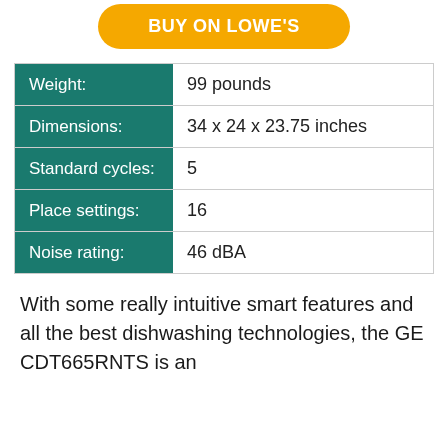[Figure (other): Yellow rounded button with text BUY ON LOWE'S]
| Weight: | 99 pounds |
| Dimensions: | 34 x 24 x 23.75 inches |
| Standard cycles: | 5 |
| Place settings: | 16 |
| Noise rating: | 46 dBA |
With some really intuitive smart features and all the best dishwashing technologies, the GE CDT665RNTS is an